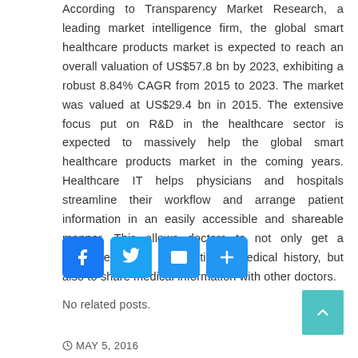According to Transparency Market Research, a leading market intelligence firm, the global smart healthcare products market is expected to reach an overall valuation of US$57.8 bn by 2023, exhibiting a robust 8.84% CAGR from 2015 to 2023. The market was valued at US$29.4 bn in 2015. The extensive focus put on R&D in the healthcare sector is expected to massively help the global smart healthcare products market in the coming years. Healthcare IT helps physicians and hospitals streamline their workflow and arrange patient information in an easily accessible and shareable manner. This allows doctors to not only get a complete picture of a patient's medical history, but also to share medical information with other doctors.
[Figure (infographic): Social sharing buttons: Facebook (blue), Twitter (blue), Email (blue), Share/Add (blue)]
No related posts.
MAY 5, 2016